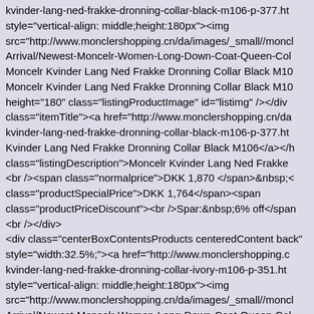kvinder-lang-ned-frakke-dronning-collar-black-m106-p-377.ht... style="vertical-align: middle;height:180px"><img src="http://www.monclershopping.cn/da/images/_small//moncl Arrival/Newest-Moncelr-Women-Long-Down-Coat-Queen-Col Moncelr Kvinder Lang Ned Frakke Dronning Collar Black M10 Moncelr Kvinder Lang Ned Frakke Dronning Collar Black M10 height="180" class="listingProductImage" id="listimg" /></div class="itemTitle"><a href="http://www.monclershopping.cn/da kvinder-lang-ned-frakke-dronning-collar-black-m106-p-377.ht Kvinder Lang Ned Frakke Dronning Collar Black M106</a></h class="listingDescription">Moncelr Kvinder Lang Ned Frakke <br /><span class="normalprice">DKK 1,870 </span>&nbsp;< class="productSpecialPrice">DKK 1,764</span><span class="productPriceDiscount"><br />Spar:&nbsp;6% off</span> <br /></div> <div class="centerBoxContentsProducts centeredContent back" style="width:32.5%;"><a href="http://www.monclershopping.c kvinder-lang-ned-frakke-dronning-collar-ivory-m106-p-351.ht style="vertical-align: middle;height:180px"><img src="http://www.monclershopping.cn/da/images/_small//moncl Arrival/Newest-Moncelr-Women-Long-Down-Coat-Queen-Col alt="Nyeste Moncelr Kvinder Lang Ned Frakke Dronning Colla title=" Nyeste Moncelr Kvinder Lang Ned Frakke Dronning Co width="180" height="180" class="listingProductImage" id="lis <br /><h3 class="itemTitle"><a href="http://www.monclershop moncelr-kvinder-lang-ned-frakke-dronning-collar-ivory-m106